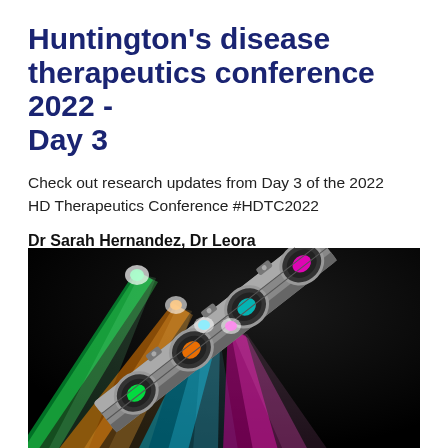Huntington's disease therapeutics conference 2022 - Day 3
Check out research updates from Day 3 of the 2022 HD Therapeutics Conference #HDTC2022
Dr Sarah Hernandez, Dr Leora Fox, Dr Rachel Harding, and Joel Stanton | March 08, 2022
[Figure (photo): Colorful stage lights (green, orange, teal, magenta) on a metallic spotlight rig against a dark background]